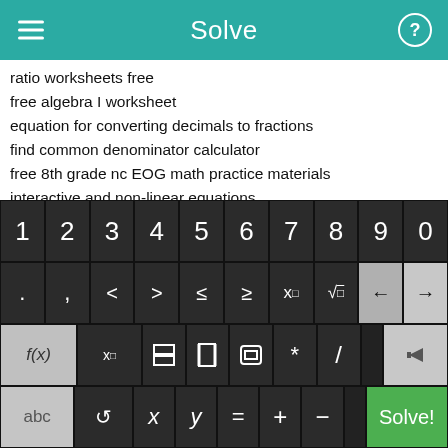Solve
ratio worksheets free
free algebra I worksheet
equation for converting decimals to fractions
find common denominator calculator
free 8th grade nc EOG math practice materials
interactive and non-linear equations
inequalities worksheets
7th grade algebra worksheet solving equations
yr 7 printable tests free
how do you find vertex
[Figure (screenshot): Math keyboard with digits 1-9,0; symbol keys including period, comma, <, >, ≤, ≥, x^□, √□, back/forward arrows; function keys f(x), x□, fraction, absolute value, parentheses, *, /,  delete; and bottom row with abc, rotate, x, y, =, +, -, and Solve! button]